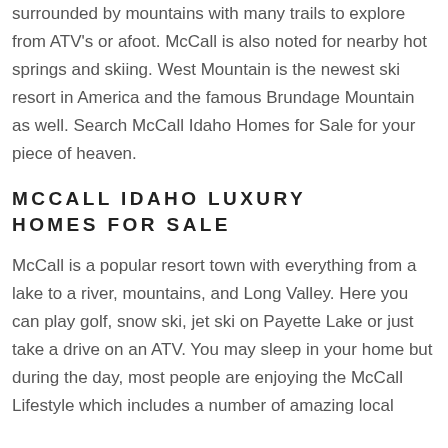surrounded by mountains with many trails to explore from ATV's or afoot. McCall is also noted for nearby hot springs and skiing. West Mountain is the newest ski resort in America and the famous Brundage Mountain as well. Search McCall Idaho Homes for Sale for your piece of heaven.
MCCALL IDAHO LUXURY HOMES FOR SALE
McCall is a popular resort town with everything from a lake to a river, mountains, and Long Valley. Here you can play golf, snow ski, jet ski on Payette Lake or just take a drive on an ATV. You may sleep in your home but during the day, most people are enjoying the McCall Lifestyle which includes a number of amazing local